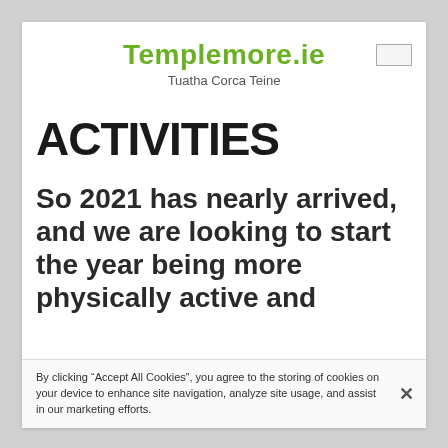Templemore.ie
Tuatha Corca Teine
ACTIVITIES
So 2021 has nearly arrived, and we are looking to start the year being more physically active and
By clicking “Accept All Cookies”, you agree to the storing of cookies on your device to enhance site navigation, analyze site usage, and assist in our marketing efforts.